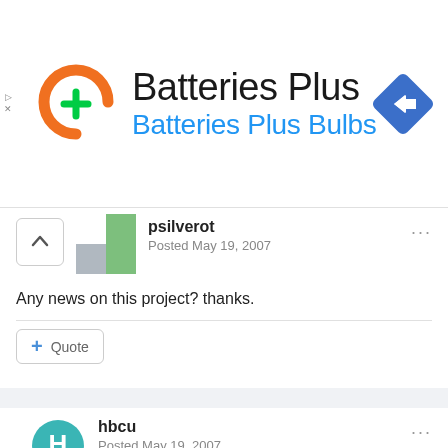[Figure (logo): Batteries Plus advertisement banner with orange battery logo with green plus sign, text 'Batteries Plus' and 'Batteries Plus Bulbs' in blue, and a blue diamond navigation icon on the right]
psilverot
Posted May 19, 2007
Any news on this project? thanks.
+ Quote
hbcu
Posted May 19, 2007
I took 290 past FF everday before I moved...there was a Fairfield Place exit then going west before Mason reopened...
problem with Schiel is that the road is too small for legitimate